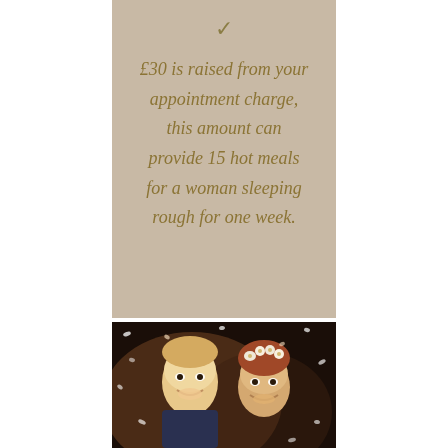[Figure (infographic): Beige/tan background panel with a gold checkmark at top and gold italic text stating: £30 is raised from your appointment charge, this amount can provide 15 hot meals for a woman sleeping rough for one week.]
[Figure (photo): Wedding photo of a smiling couple (man on left, woman with floral hair crown on right) surrounded by confetti against a dark background.]